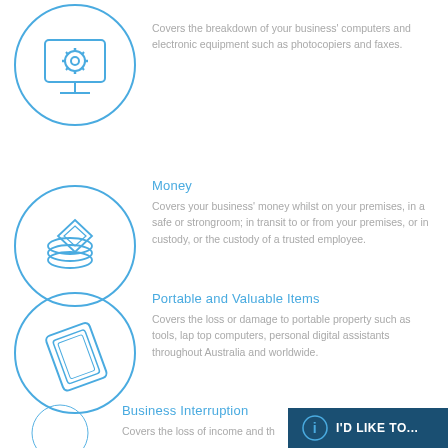[Figure (illustration): Blue circle with computer/monitor and gear icon]
Covers the breakdown of your business' computers and electronic equipment such as photocopiers and faxes.
[Figure (illustration): Blue circle with coins/money and diamond icon]
Money
Covers your business' money whilst on your premises, in a safe or strongroom; in transit to or from your premises, or in custody, or the custody of a trusted employee.
[Figure (illustration): Blue circle with tablet/portable device icon]
Portable and Valuable Items
Covers the loss or damage to portable property such as tools, lap top computers, personal digital assistants throughout Australia and worldwide.
[Figure (illustration): Blue circle partially visible at bottom]
Business Interruption
Covers the loss of income and th
I'D LIKE TO...